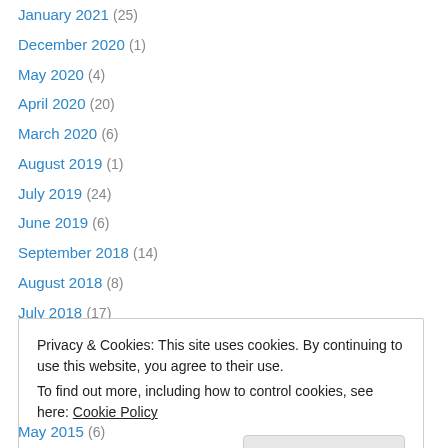January 2021 (25)
December 2020 (1)
May 2020 (4)
April 2020 (20)
March 2020 (6)
August 2019 (1)
July 2019 (24)
June 2019 (6)
September 2018 (14)
August 2018 (8)
July 2018 (17)
June 2017 (30)
December 2016 (28)
Privacy & Cookies: This site uses cookies. By continuing to use this website, you agree to their use.
To find out more, including how to control cookies, see here: Cookie Policy
May 2015 (6)